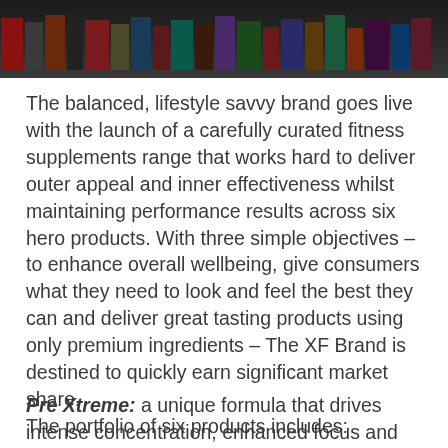[Figure (photo): Dark image showing bottles or products on shelves, cropped at the top of the page]
The balanced, lifestyle savvy brand goes live with the launch of a carefully curated fitness supplements range that works hard to deliver outer appeal and inner effectiveness whilst maintaining performance results across six hero products. With three simple objectives – to enhance overall wellbeing, give consumers what they need to look and feel the best they can and deliver great tasting products using only premium ingredients – The XF Brand is destined to quickly earn significant market share.
The portfolio of six products includes:
Pre Xtreme: a unique formula that drives intense concentration, enhanced focus and